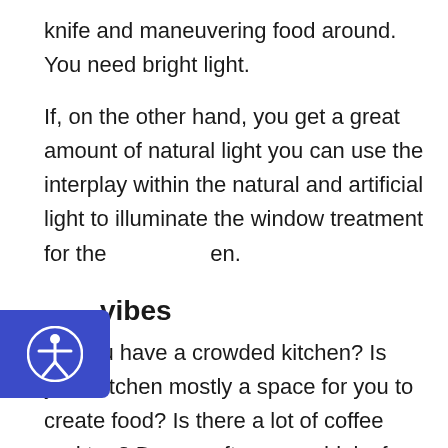knife and maneuvering food around. You need bright light.
If, on the other hand, you get a great amount of natural light you can use the interplay within the natural and artificial light to illuminate the window treatment for the kitchen.
vibes
Do you have a crowded kitchen? Is your kitchen mostly a space for you to create food? Is there a lot of coffee and tea? Do you often pour drinks for your friends? Is it a space that you eat in, listen to music in, dance around in, get business done in, dream in?
Remember that your kitchen window treatments will set